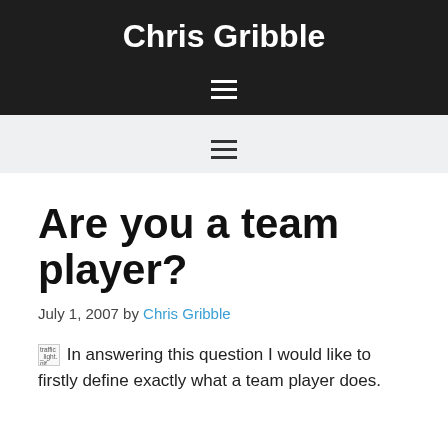Chris Gribble
Are you a team player?
July 1, 2007 by Chris Gribble
In answering this question I would like to firstly define exactly what a team player does.